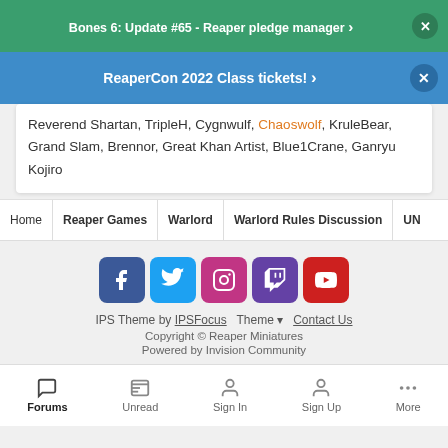Bones 6: Update #65 - Reaper pledge manager
ReaperCon 2022 Class tickets!
Reverend Shartan, TripleH, Cygnwulf, Chaoswolf, KruleBear, Grand Slam, Brennor, Great Khan Artist, Blue1Crane, Ganryu Kojiro
Home
Reaper Games
Warlord
Warlord Rules Discussion
UN
[Figure (infographic): Social media icon buttons for Facebook, Twitter, Instagram, Twitch, YouTube]
IPS Theme by IPSFocus  Theme  Contact Us
Copyright © Reaper Miniatures
Powered by Invision Community
Forums  Unread  Sign In  Sign Up  More